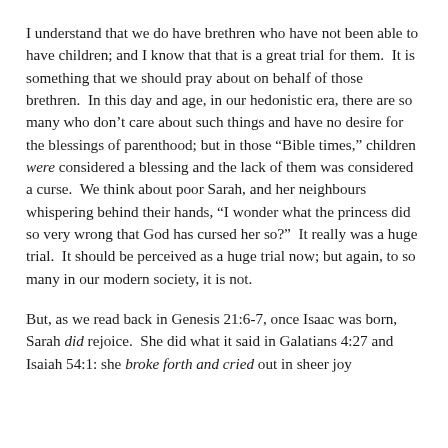I understand that we do have brethren who have not been able to have children; and I know that that is a great trial for them.  It is something that we should pray about on behalf of those brethren.  In this day and age, in our hedonistic era, there are so many who don’t care about such things and have no desire for the blessings of parenthood; but in those “Bible times,” children were considered a blessing and the lack of them was considered a curse.  We think about poor Sarah, and her neighbours whispering behind their hands, “I wonder what the princess did so very wrong that God has cursed her so?”  It really was a huge trial.  It should be perceived as a huge trial now; but again, to so many in our modern society, it is not.
But, as we read back in Genesis 21:6-7, once Isaac was born, Sarah did rejoice.  She did what it said in Galatians 4:27 and Isaiah 54:1: she broke forth and cried out in sheer joy